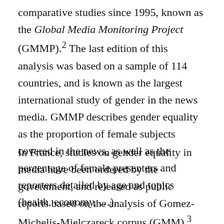comparative studies since 1995, known as the Global Media Monitoring Project (GMMP).² The last edition of this analysis was based on a sample of 114 countries, and is known as the largest international study of gender in the news media. GMMP describes gender equality as the proportion of female subjects covered in the news, as well as the percentage of female presenters and reporters detailed by age and topics (health, economy, …).
In France, studies on gender equality in media have been ordered by the government, and released as public reports based on the analysis of Gomez-Michelis-Mielczareck corpus (GMM).³ Equality was described based on the identification rate, defined as the